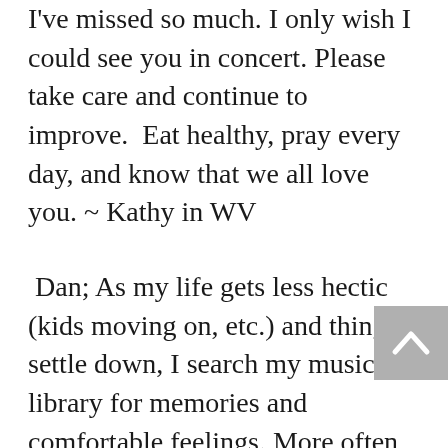I've missed so much. I only wish I could see you in concert. Please take care and continue to improve. Eat healthy, pray every day, and know that we all love you. ~ Kathy in WV
Dan; As my life gets less hectic (kids moving on, etc.) and things settle down, I search my music library for memories and comfortable feelings. More often than not I pick out one of you cd's. It brings me back to a